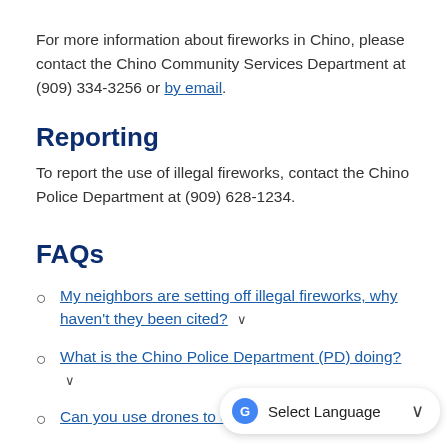For more information about fireworks in Chino, please contact the Chino Community Services Department at (909) 334-3256 or by email.
Reporting
To report the use of illegal fireworks, contact the Chino Police Department at (909) 628-1234.
FAQs
My neighbors are setting off illegal fireworks, why haven't they been cited?
What is the Chino Police Department (PD) doing?
Can you use drones to cite p...
Why does the City allow safe and sane fireworks?
[Figure (screenshot): Google Translate 'Select Language' dropdown widget overlaid at bottom right of page]